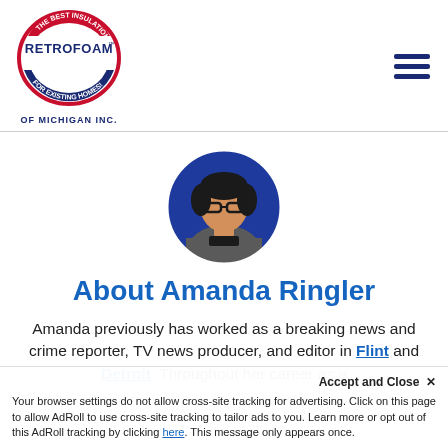[Figure (logo): RetroFoam of Michigan Inc. logo — circular badge with red, white, and blue colors, text 'RetroFoam of Michigan Inc.']
[Figure (photo): Circular profile photo of Amanda Ringler, a woman wearing glasses and a grey jacket, against a blue background]
About Amanda Ringler
Amanda previously has worked as a breaking news and crime reporter, TV news producer, and editor in Flint and Detroit. Throughout her career as a journalist, she has won several awards
Your browser settings do not allow cross-site tracking for advertising. Click on this page to allow AdRoll to use cross-site tracking to tailor ads to you. Learn more or opt out of this AdRoll tracking by clicking here. This message only appears once.